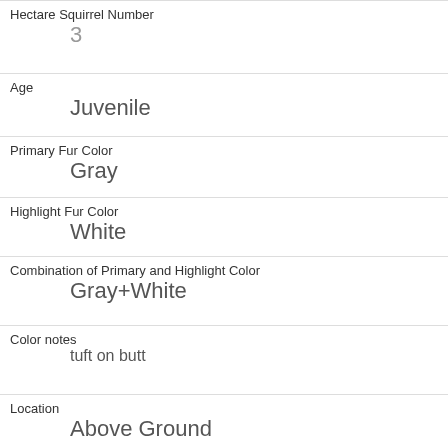| Hectare Squirrel Number | 3 |
| Age | Juvenile |
| Primary Fur Color | Gray |
| Highlight Fur Color | White |
| Combination of Primary and Highlight Color | Gray+White |
| Color notes | tuft on butt |
| Location | Above Ground |
| Above Ground Sighter Measurement | 10 |
| Specific Location |  |
| Running | 0 |